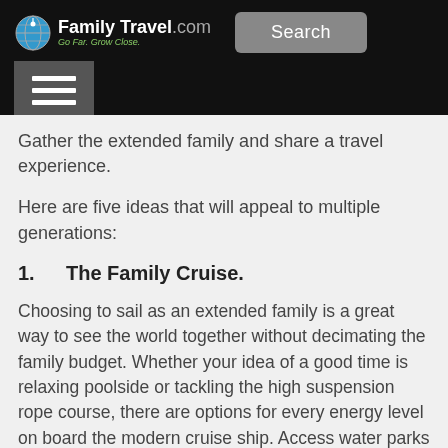FamilyTravel.com — Go Far. Grow Close. | Search | Menu
Gather the extended family and share a travel experience.
Here are five ideas that will appeal to multiple generations:
1. The Family Cruise.
Choosing to sail as an extended family is a great way to see the world together without decimating the family budget. Whether your idea of a good time is relaxing poolside or tackling the high suspension rope course, there are options for every energy level on board the modern cruise ship. Access water parks and kids' camps by day. Then check out teen clubs, plus family and adult entertainment by night.